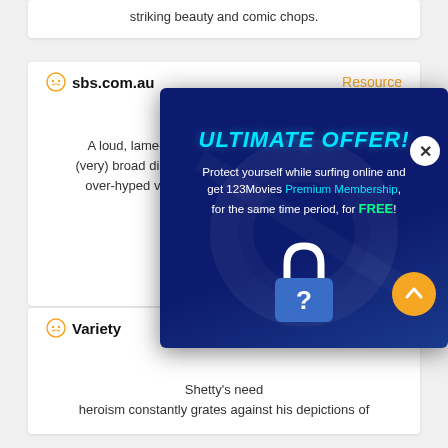striking beauty and comic chops.
sbs.com.au
Resource
August 14, 2013
A loud, lame-brained romantic comedy from the (very) broad directorial brush of Rohit Shetty, SRK's over-hyped v[...] actor badly m[...] lead[...]
Variety
Shetty's need[...] heroism constantly grates against his depictions of
[Figure (infographic): Popup advertisement overlay with dark blue background, titled 'ULTIMATE OFFER!' in cyan italic bold text, describing protection while surfing online and 123Movies Premium Membership for free. Contains a lock icon with question mark and an orange scroll-up button.]